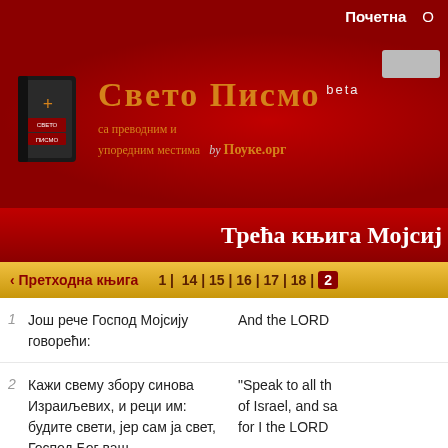Почетна
[Figure (screenshot): Свето Писмо website logo with book icon and site title in Serbian Cyrillic]
Трећа књига Мојсиј
< Претходна књига    1 | 14 | 15 | 16 | 17 | 18 |
1  Још рече Господ Мојсију говорећи:    And the LORD
2  Кажи свему збору синова Израиљевих, и реци им: будите свети, јер сам ја свет, Господ Бог ваш.    "Speak to all th of Israel, and sa for I the LORD
3  Сваки да се боји матере своје и оца својега;    'Every one of y